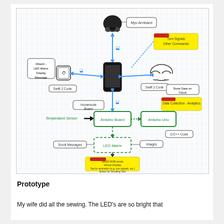[Figure (flowchart): System architecture flowchart showing connections between Myo Armband, iPhone, iWatch, Homenode Board, Arduino Board, Arduino Uno, LED Matrix, Temperature Sensor, Cloud storage, and yellow annotation boxes for Turn Signals/Other Commands, Data Collection-Analytics, and 18x30 RGB pixel Virtual Display details. Components connected with blue double-headed arrows (Bluetooth), green dashed arrows, and black arrows.]
Prototype
My wife did all the sewing. The LED's are so bright that